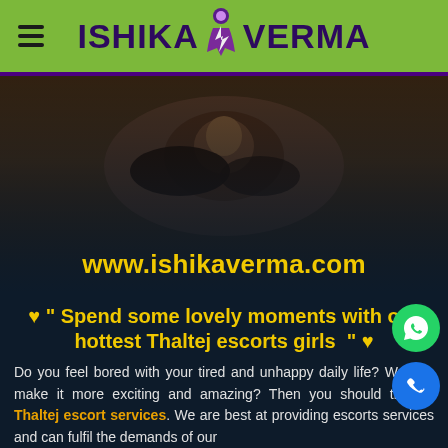ISHIKA VERMA
[Figure (photo): Woman lying down, banner image for escort website]
www.ishikaverma.com
❤ ❝ Spend some lovely moments with our hottest Thaltej escorts girls ❞ ❤
Do you feel bored with your tired and unhappy daily life? Want to make it more exciting and amazing? Then you should try our Thaltej escort services. We are best at providing escorts services and can fulfil the demands of our